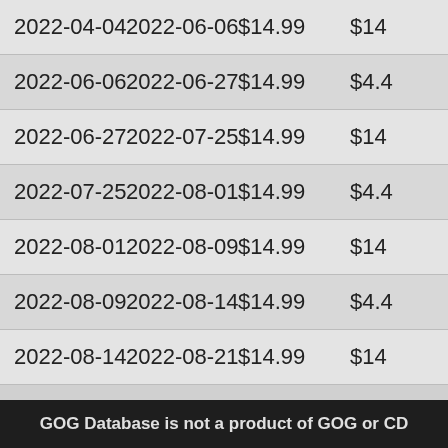| Start Date | End Date | Price | Price (partial) |
| --- | --- | --- | --- |
| 2022-04-04 | 2022-06-06 | $14.99 | $14... |
| 2022-06-06 | 2022-06-27 | $14.99 | $4.4... |
| 2022-06-27 | 2022-07-25 | $14.99 | $14... |
| 2022-07-25 | 2022-08-01 | $14.99 | $4.4... |
| 2022-08-01 | 2022-08-09 | $14.99 | $14... |
| 2022-08-09 | 2022-08-14 | $14.99 | $4.4... |
| 2022-08-14 | 2022-08-21 | $14.99 | $14... |
To view old (pre 2019) price data click here.
GOG Database is not a product of GOG or CD...